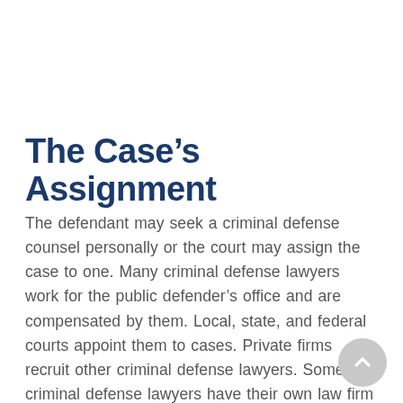The Case’s Assignment
The defendant may seek a criminal defense counsel personally or the court may assign the case to one. Many criminal defense lawyers work for the public defender’s office and are compensated by them. Local, state, and federal courts appoint them to cases. Private firms recruit other criminal defense lawyers. Some criminal defense lawyers have their own law firm that they manage. Due to the referral procedure and the payment coming from individuals other than defendants, public defenders are paid less than private lawyers and have a larger case load. In some situations, a court may appoint a private